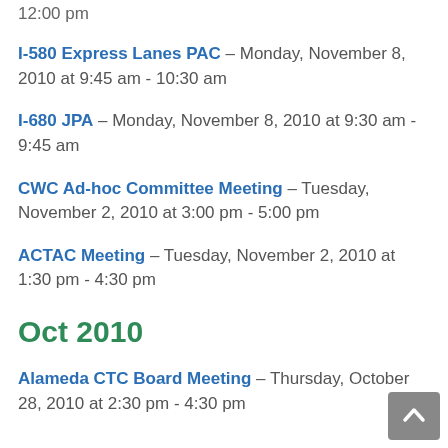12:00 pm
I-580 Express Lanes PAC – Monday, November 8, 2010 at 9:45 am - 10:30 am
I-680 JPA – Monday, November 8, 2010 at 9:30 am - 9:45 am
CWC Ad-hoc Committee Meeting – Tuesday, November 2, 2010 at 3:00 pm - 5:00 pm
ACTAC Meeting – Tuesday, November 2, 2010 at 1:30 pm - 4:30 pm
Oct 2010
Alameda CTC Board Meeting – Thursday, October 28, 2010 at 2:30 pm - 4:30 pm